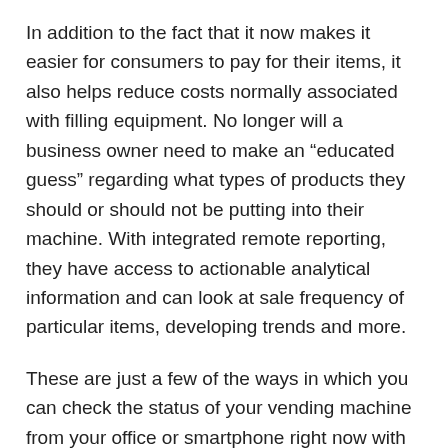In addition to the fact that it now makes it easier for consumers to pay for their items, it also helps reduce costs normally associated with filling equipment. No longer will a business owner need to make an “educated guess” regarding what types of products they should or should not be putting into their machine. With integrated remote reporting, they have access to actionable analytical information and can look at sale frequency of particular items, developing trends and more.
These are just a few of the ways in which you can check the status of your vending machine from your office or smartphone right now with the right service at your side. As technology continues to advance, it is truly exciting to think about the shape that these types of features will take just a few short years from now.
This entry was posted in Vending Industry News, Vending